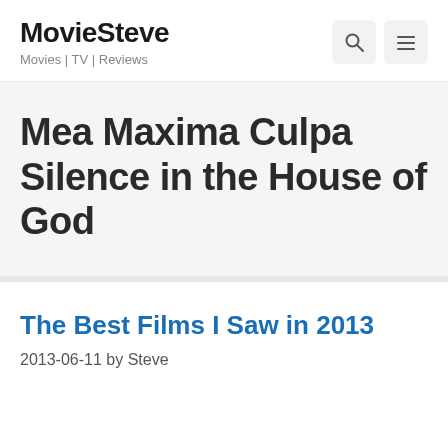MovieSteve — Movies | TV | Reviews
Mea Maxima Culpa Silence in the House of God
The Best Films I Saw in 2013
2013-06-11 by Steve